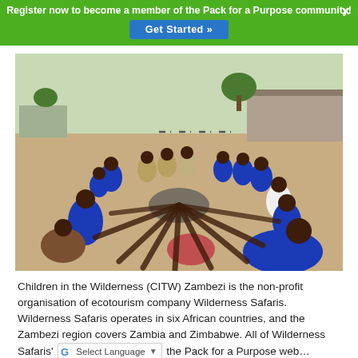Register now to become a member of the Pack for a Purpose community! ×
Get Started »
[Figure (photo): Group of African children in blue school uniforms sitting in a circle on sandy ground outdoors, with a building and trees visible in the background.]
Children in the Wilderness (CITW) Zambezi is the non-profit organisation of ecotourism company Wilderness Safaris. Wilderness Safaris operates in six African countries, and the Zambezi region covers Zambia and Zimbabwe. All of Wilderness Safaris' [Select Language ▼] the Pack for a Purpose web...